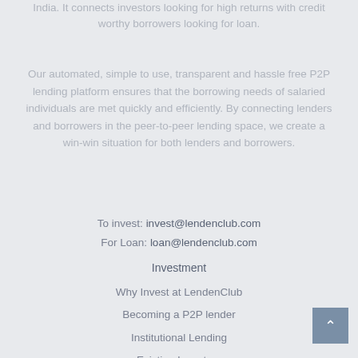India. It connects investors looking for high returns with credit worthy borrowers looking for loan.
Our automated, simple to use, transparent and hassle free P2P lending platform ensures that the borrowing needs of salaried individuals are met quickly and efficiently. By connecting lenders and borrowers in the peer-to-peer lending space, we create a win-win situation for both lenders and borrowers.
To invest: invest@lendenclub.com
For Loan: loan@lendenclub.com
Investment
Why Invest at LendenClub
Becoming a P2P lender
Institutional Lending
Existing Investors